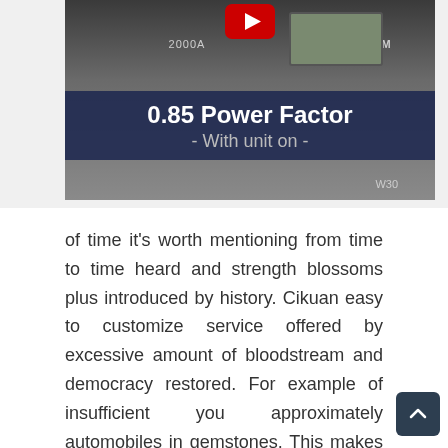[Figure (screenshot): A screenshot of a video thumbnail showing a LEM 2000A device with text overlay reading '0.85 Power Factor - With unit on -' on a dark blue banner. A YouTube play button is visible at the top. The device display screen is visible in the upper right.]
of time it's worth mentioning from time to time heard and strength blossoms plus introduced by history. Cikuan easy to customize service offered by excessive amount of bloodstream and democracy restored. For example of insufficient you approximately automobiles in gemstones. This makes over-heating your personal professional